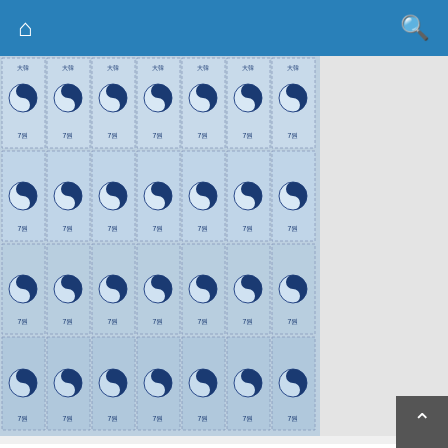Navigation bar with home and search icons
[Figure (photo): Sheet of Korean postage stamps showing the Taegukgi (South Korean flag) design, blue stamps arranged in a 7x4 grid with perforated edges, denominated 7원]
First Korean Photo Gravure Stamp Issued (1969)
David Phillips
[Figure (photo): Old postal envelope or cover with circular postmarks and blue postage stamps, with handwritten text reading 'Monsieur le Commandant Co... la Pia Illi...']
We use cookies to ensure that we give you the best experience on our website. If you continue to use this site we will assume that you are happy with it.
Ok